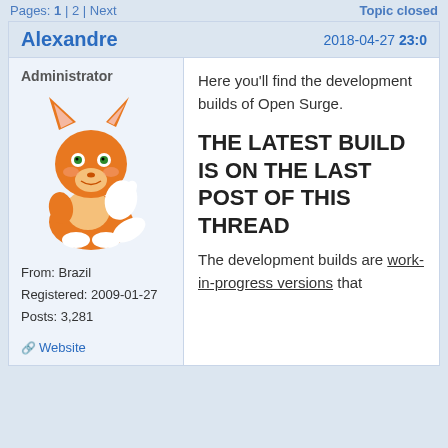Pages: 1 | 2 | Next    Topic closed
Alexandre   2018-04-27 23:0
Administrator
[Figure (illustration): Cartoon orange fox character giving thumbs up]
From: Brazil
Registered: 2009-01-27
Posts: 3,281
Website
Here you'll find the development builds of Open Surge.

THE LATEST BUILD IS ON THE LAST POST OF THIS THREAD

The development builds are work-in-progress versions that